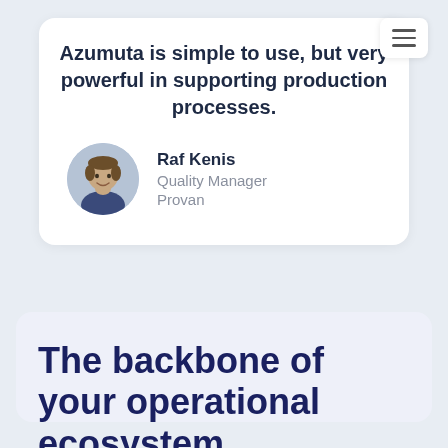Azumuta is simple to use, but very powerful in supporting production processes.
Raf Kenis
Quality Manager
Provan
[Figure (photo): Circular avatar photo of Raf Kenis, a man smiling, wearing a navy shirt.]
The backbone of your operational ecosystem